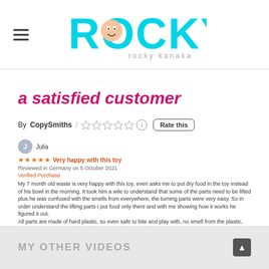Rocky Kanaka
a satisfied customer
By CopySmiths / [stars] Rate this
[Figure (screenshot): Amazon product review screenshot showing a 5-star review titled 'Very happy with this toy' by Julia, Reviewed in Germany on 5 October 2021, Verified Purchase. Review text about a 7-month-old dog enjoying the toy, figuring out lifting parts with food motivation, and hard plastic quality.]
MY OTHER VIDEOS